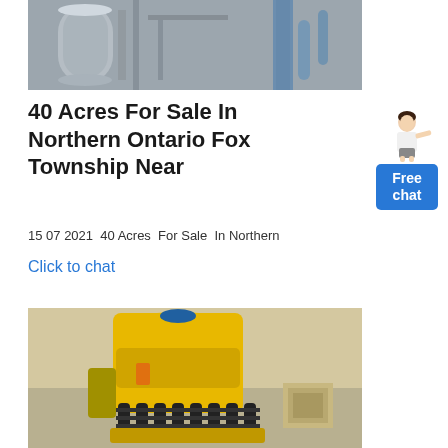[Figure (photo): Industrial machinery interior with large cylindrical equipment, blue pipes, and metal structures in a factory setting]
40 Acres For Sale In Northern Ontario Fox Township Near
15 07 2021  40 Acres  For Sale  In Northern
Click to chat
[Figure (photo): A yellow heavy industrial cone crusher machine with multiple cylindrical components and springs, displayed in a warehouse]
[Figure (illustration): Sidebar widget showing a woman figure pointing at a blue Free chat button]